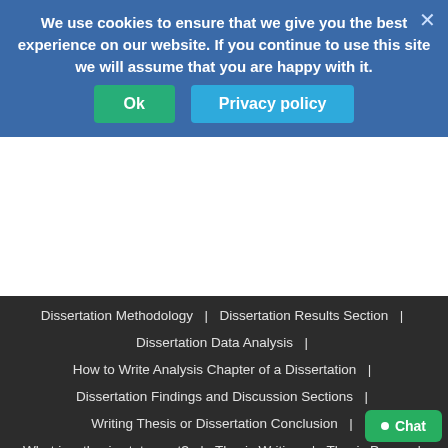Dissertation Structure – Empirical Study | Dissertation Proposal | Dissertation Proposal Format | How to Write a Dissertation Abstract | Writing a Literature Review | Dissertation Methodology | Dissertation Results Section
We use cookies to ensure that we give you the best experience on our website. If you continue to use this site we will assume that you are happy with it.
Ok   Privacy policy
Dissertation Methodology  |  Dissertation Results Section  |
Dissertation Data Analysis  |
How to Write Analysis Chapter of a Dissertation  |
Dissertation Findings and Discussion Sections  |
Writing Thesis or Dissertation Conclusion  |
What is a thesis statement?  |  Thesis Writing  |  Thesis Paper  |
Master's Thesis  |  Plagiarism  |
Term Paper Writing – Research Paper Writing Service  |
Accounting Cycle /Assignment Help  |  Sitemap  |
Terms and Conditions  |  Refund Policy  |  Privacy Policy  |
FAQ